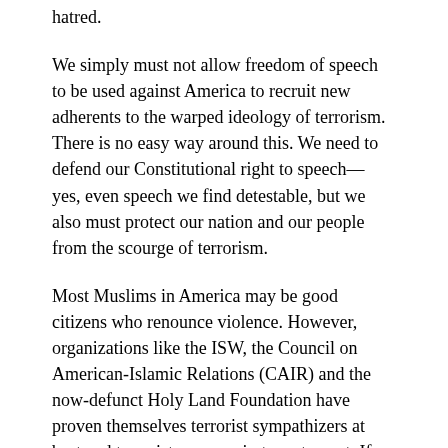hatred.
We simply must not allow freedom of speech to be used against America to recruit new adherents to the warped ideology of terrorism. There is no easy way around this. We need to defend our Constitutional right to speech— yes, even speech we find detestable, but we also must protect our nation and our people from the scourge of terrorism.
Most Muslims in America may be good citizens who renounce violence. However, organizations like the ISW, the Council on American-Islamic Relations (CAIR) and the now-defunct Holy Land Foundation have proven themselves terrorist sympathizers at best and terrorist co-conspirators at worst. If we cannot find a way to cut off the radical indoctrination these organizations espouse, then we could be facing a bloody future that looks more and